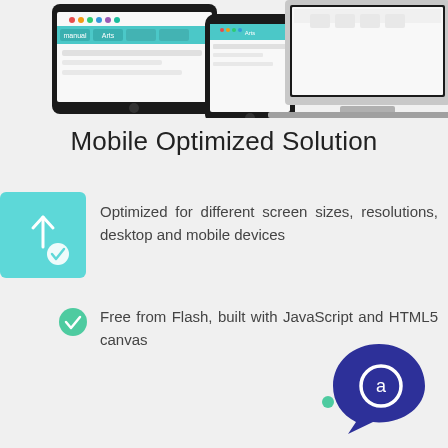[Figure (screenshot): Screenshots of a charting/analytics application shown on tablet, phone, and laptop devices against a light gray background]
Mobile Optimized Solution
[Figure (illustration): Teal square icon with upward arrow and checkmark]
Optimized for different screen sizes, resolutions, desktop and mobile devices
[Figure (illustration): Green circle checkmark icon]
Free from Flash, built with JavaScript and HTML5 canvas
[Figure (logo): Dark blue teardrop/speech bubble logo with a circular 'a' letter inside and a small green dot]